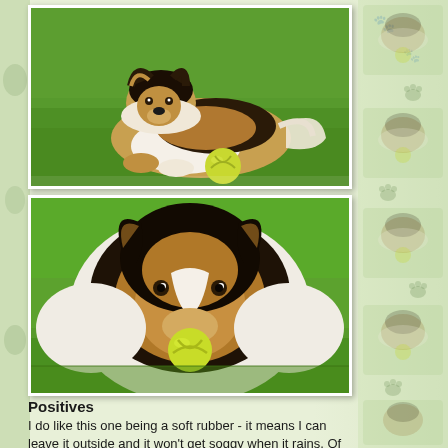[Figure (photo): Shetland Sheepdog (Sheltie) lying on green grass with a yellow-green ball in front of it]
[Figure (photo): Shetland Sheepdog (Sheltie) running or standing on green grass with a yellow-green ball in its mouth, close-up front view]
[Figure (illustration): Decorative right-side strip with faded/watermark repeated images of a Sheltie dog and paw prints on light green background]
Positives
I do like this one being a soft rubber - it means I can leave it outside and it won't get soggy when it rains. Of coarse it